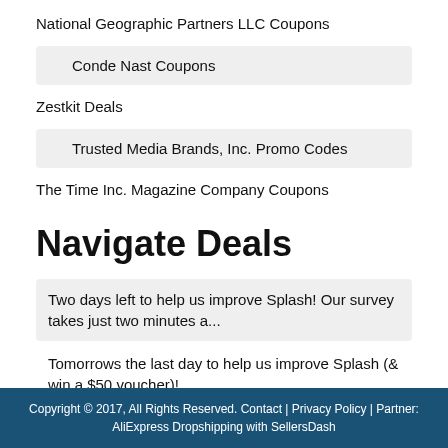National Geographic Partners LLC Coupons
Conde Nast Coupons
Zestkit Deals
Trusted Media Brands, Inc. Promo Codes
The Time Inc. Magazine Company Coupons
Navigate Deals
Two days left to help us improve Splash! Our survey takes just two minutes a...
Tomorrows the last day to help us improve Splash (& win a $50 voucher)! ...
Copyright © 2017, All Rights Reserved. Contact | Privacy Policy | Partner: AliExpress Dropshipping with SellersDash